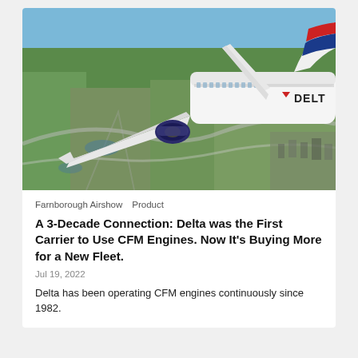[Figure (photo): Aerial photograph of a Delta Air Lines commercial aircraft in flight over a cityscape, showing the right side of the plane with fuselage text 'DELTA', a blue engine, and a red/blue tail livery, with green suburban landscape below.]
Farnborough Airshow   Product
A 3-Decade Connection: Delta was the First Carrier to Use CFM Engines. Now It's Buying More for a New Fleet.
Jul 19, 2022
Delta has been operating CFM engines continuously since 1982.